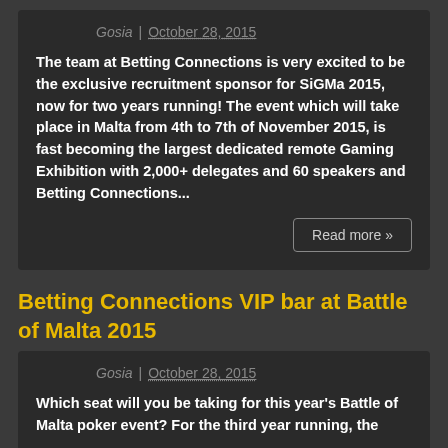Gosia | October 28, 2015
The team at Betting Connections is very excited to be the exclusive recruitment sponsor for SiGMa 2015, now for two years running! The event which will take place in Malta from 4th to 7th of November 2015, is fast becoming the largest dedicated remote Gaming Exhibition with 2,000+ delegates and 60 speakers and Betting Connections...
Read more »
Betting Connections VIP bar at Battle of Malta 2015
Gosia | October 28, 2015
Which seat will you be taking for this year's Battle of Malta poker event? For the third year running, the